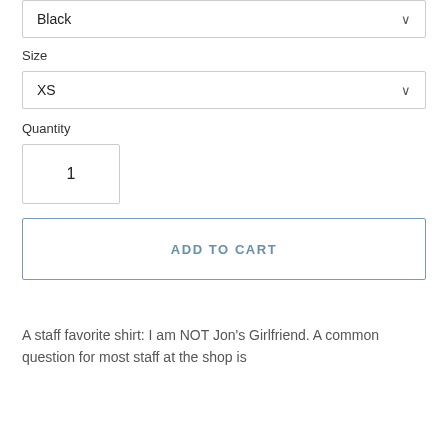Black (dropdown selected)
Size
XS (dropdown selected)
Quantity
1
ADD TO CART
A staff favorite shirt: I am NOT Jon's Girlfriend. A common question for most staff at the shop is